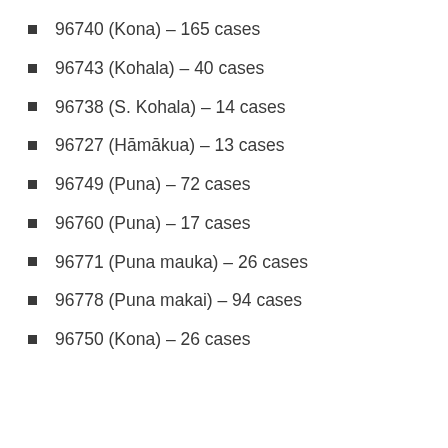96740 (Kona) – 165 cases
96743 (Kohala) – 40 cases
96738 (S. Kohala) – 14 cases
96727 (Hāmākua) – 13 cases
96749 (Puna) – 72 cases
96760 (Puna) – 17 cases
96771 (Puna mauka) – 26 cases
96778 (Puna makai) – 94 cases
96750 (Kona) – 26 cases